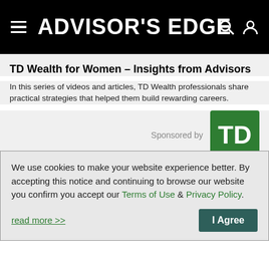ADVISOR'S EDGE
TD Wealth for Women – Insights from Advisors
In this series of videos and articles, TD Wealth professionals share practical strategies that helped them build rewarding careers.
[Figure (logo): TD Bank green square logo with white TD letters, labeled 'Sponsored by']
Why National Bank Financial – Wealth Management stands out from other brokerages
We use cookies to make your website experience better. By accepting this notice and continuing to browse our website you confirm you accept our Terms of Use & Privacy Policy.

read more >>